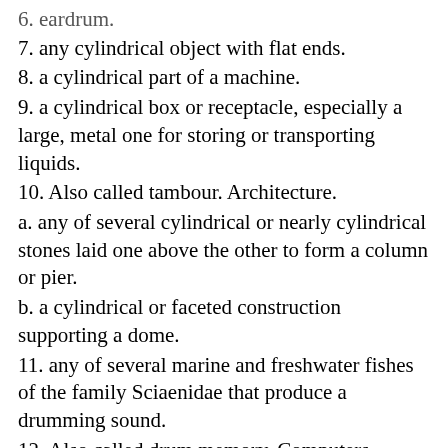6. eardrum.
7. any cylindrical object with flat ends.
8. a cylindrical part of a machine.
9. a cylindrical box or receptacle, especially a large, metal one for storing or transporting liquids.
10. Also called tambour. Architecture.
a. any of several cylindrical or nearly cylindrical stones laid one above the other to form a column or pier.
b. a cylindrical or faceted construction supporting a dome.
11. any of several marine and freshwater fishes of the family Sciaenidae that produce a drumming sound.
12. Also called drum memory. Computers. magnetic drum.
13. Archaic. an assembly of fashionable people at a private house in the evening.
14. a person who plays the drum.